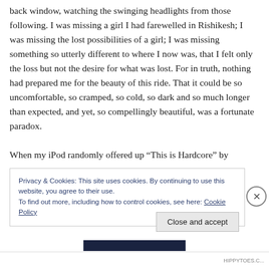back window, watching the swinging headlights from those following. I was missing a girl I had farewelled in Rishikesh; I was missing the lost possibilities of a girl; I was missing something so utterly different to where I now was, that I felt only the loss but not the desire for what was lost. For in truth, nothing had prepared me for the beauty of this ride. That it could be so uncomfortable, so cramped, so cold, so dark and so much longer than expected, and yet, so compellingly beautiful, was a fortunate paradox.
When my iPod randomly offered up “This is Hardcore” by
Privacy & Cookies: This site uses cookies. By continuing to use this website, you agree to their use.
To find out more, including how to control cookies, see here: Cookie Policy
Close and accept